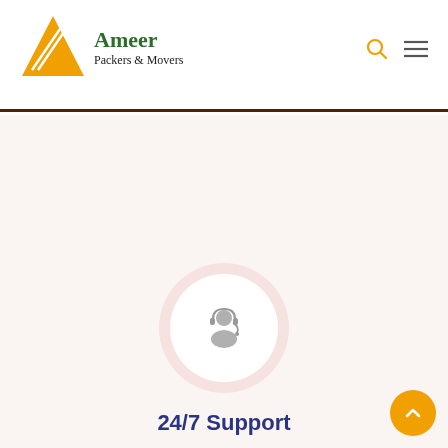[Figure (logo): Ameer Packers & Movers logo with orange triangle and green text]
[Figure (illustration): Customer support / headset person icon inside a white circle with pinkish outer glow circle]
24/7 Support
[Figure (other): Orange circular scroll-to-top button with upward chevron arrow]